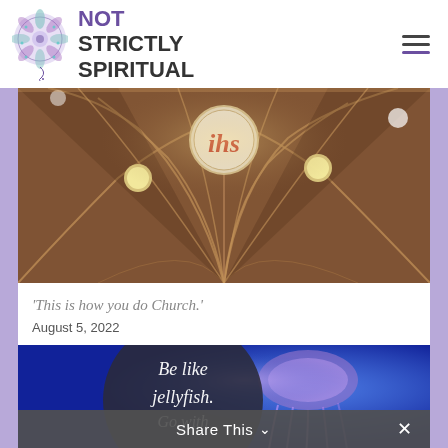NOT STRICTLY SPIRITUAL
[Figure (photo): Interior view of an ornate church ceiling with ribbed vaulting, featuring a central medallion with 'IHS' monogram in red, and decorative circular windows with warm lighting]
'This is how you do Church.'
August 5, 2022
[Figure (photo): Composite image with dark circular overlay on left reading 'Be like jellyfish. Go with' in cursive script, and right side showing a blue-lit jellyfish photograph]
Share This  ✕